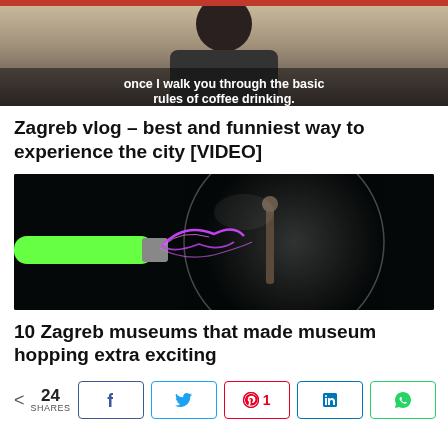[Figure (photo): Top portion of a video thumbnail showing a person with subtitle text: 'once I walk you through the basic rules of coffee drinking.']
Zagreb vlog – best and funniest way to experience the city [VIDEO]
[Figure (photo): Photo of a glowing green tube/rod shooting purple electric sparks at a transparent glass sphere in a dark background — museum science exhibit.]
10 Zagreb museums that made museum hopping extra exciting
< 24 SHARES  [Facebook] [Twitter] [Pinterest 1] [LinkedIn] [WhatsApp]